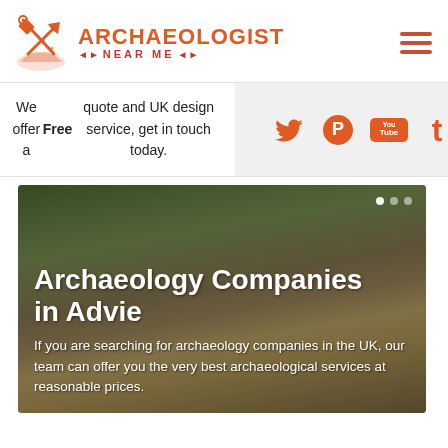[Figure (logo): Archaeologist Near Me logo with crossed pickaxe and shovel icon, orange color, and text 'ARCHAEOLOGIST' with 'NEAR ME' below]
We offer a Free quote and UK design service, get in touch today.
[Figure (infographic): Social media icons: Twitter bird, Pinterest P, YouTube logo, Tumblr T — all in orange on light grey background]
Archaeology Companies in Advie
If you are searching for archaeology companies in the UK, our team can offer you the very best archaeological services at reasonable prices.